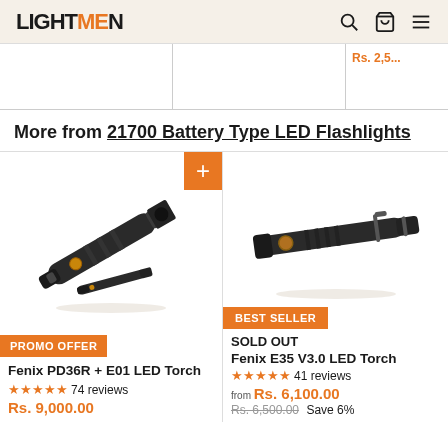LIGHTMEN — navigation header with search, cart, and menu icons
More from 21700 Battery Type LED Flashlights
[Figure (photo): Fenix PD36R + E01 LED Torch product photo showing two black flashlights]
PROMO OFFER
Fenix PD36R + E01 LED Torch
★★★★★ 74 reviews
Rs. 9,000.00
[Figure (photo): Fenix E35 V3.0 LED Torch product photo showing a black flashlight]
BEST SELLER
SOLD OUT
Fenix E35 V3.0 LED Torch
★★★★★ 41 reviews
from Rs. 6,100.00
Rs. 6,500.00  Save 6%
[Figure (photo): Fenix HT series LED torch partial view showing large reflector]
BEST SEL...
Rs. 12,...